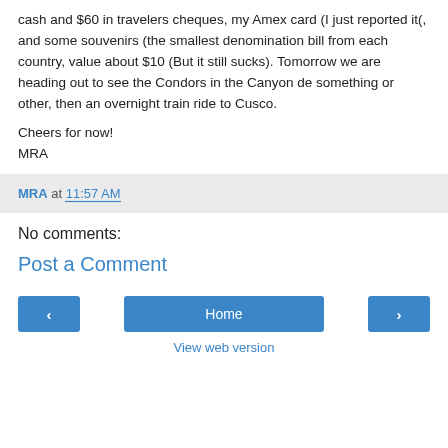cash and $60 in travelers cheques, my Amex card (I just reported it(, and some souvenirs (the smallest denomination bill from each country, value about $10 (But it still sucks). Tomorrow we are heading out to see the Condors in the Canyon de something or other, then an overnight train ride to Cusco.
Cheers for now!
MRA
MRA at 11:57 AM
No comments:
Post a Comment
‹  Home  ›
View web version